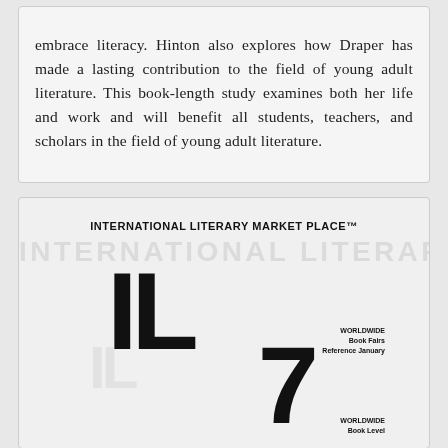embrace literacy. Hinton also explores how Draper has made a lasting contribution to the field of young adult literature. This book-length study examines both her life and work and will benefit all students, teachers, and scholars in the field of young adult literature.
[Figure (other): International Literary Market Place (ILMP) logo and advertisement showing bold 'IL' letters, the number '7', text reading 'INTERNATIONAL LITERARY MARKET PLACE™', and small sidebar text]